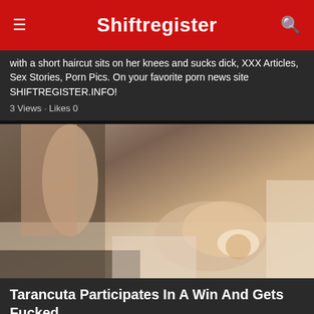Shiftregister
with a short haircut sits on her knees and sucks dick, XXX Articles, Sex Stories, Porn Pics. On your favorite porn news site SHIFTREGISTER.INFO!
3 Views · Likes 0
[Figure (photo): Adult content photograph]
Tarancuta Participates In A Win And Gets Fucked
View the xxx porn article: Tarancuta Participates In A Win And Gets Fucked, XXX Articles, Sex Stories, Porn Pics. On your favorite porn news site SHIFTREGISTER.INFO!
24 Views · Likes 0